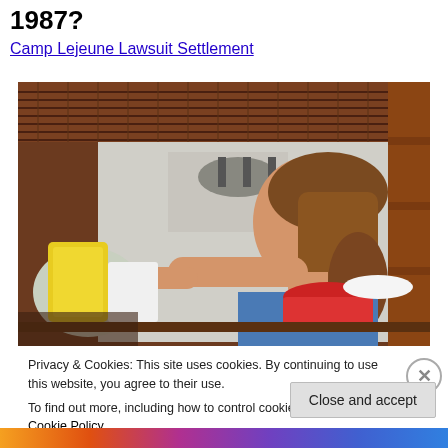1987?
Camp Lejeune Lawsuit Settlement
[Figure (photo): A young woman reaching into a refrigerator, viewed from inside the refrigerator looking out. She has long brown hair and is wearing a blue top. The refrigerator shelves and food items are visible in the foreground.]
Privacy & Cookies: This site uses cookies. By continuing to use this website, you agree to their use.
To find out more, including how to control cookies, see here: Cookie Policy
Close and accept